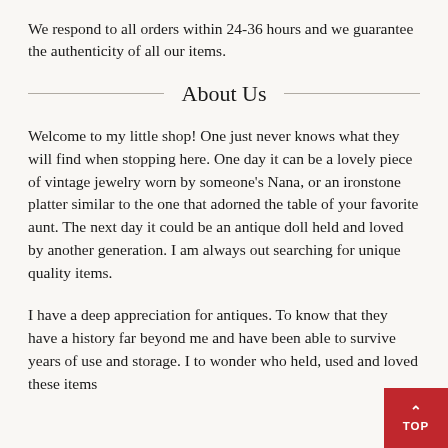We respond to all orders within 24-36 hours and we guarantee the authenticity of all our items.
About Us
Welcome to my little shop! One just never knows what they will find when stopping here. One day it can be a lovely piece of vintage jewelry worn by someone's Nana, or an ironstone platter similar to the one that adorned the table of your favorite aunt. The next day it could be an antique doll held and loved by another generation. I am always out searching for unique quality items.
I have a deep appreciation for antiques. To know that they have a history far beyond me and have been able to survive years of use and storage. I to wonder who held, used and loved these items